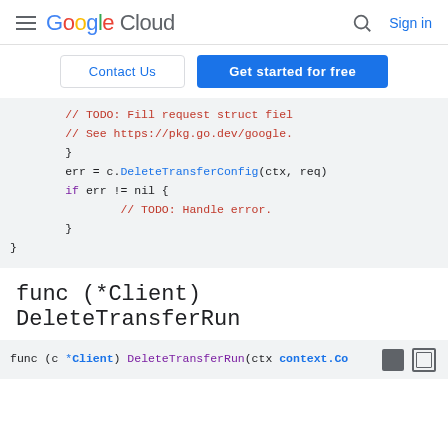Google Cloud  Sign in
Contact Us  Get started for free
[Figure (screenshot): Code block showing Go code snippet with DeleteTransferConfig call, error handling, and comments]
func (*Client) DeleteTransferRun
[Figure (screenshot): Code block showing beginning of func (c *Client) DeleteTransferRun(ctx context.Co...]